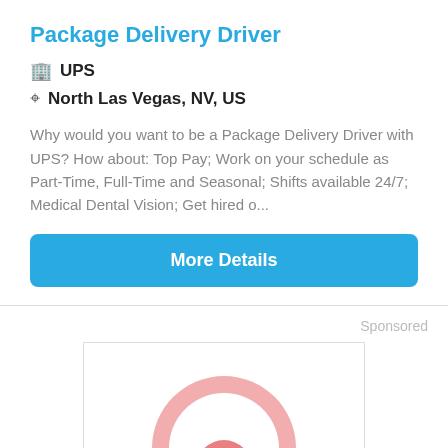Package Delivery Driver
UPS
North Las Vegas, NV, US
Why would you want to be a Package Delivery Driver with UPS? How about: Top Pay; Work on your schedule as Part-Time, Full-Time and Seasonal; Shifts available 24/7; Medical Dental Vision; Get hired o...
More Details
Sponsored
[Figure (logo): Pink circular logo with a stylized face or helmet shape, inside a white bordered box]